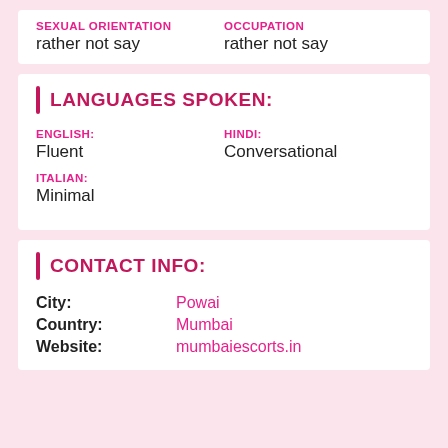SEXUAL ORIENTATION: rather not say
OCCUPATION: rather not say
LANGUAGES SPOKEN:
ENGLISH: Fluent
HINDI: Conversational
ITALIAN: Minimal
CONTACT INFO:
City: Powai
Country: Mumbai
Website: mumbaiescorts.in